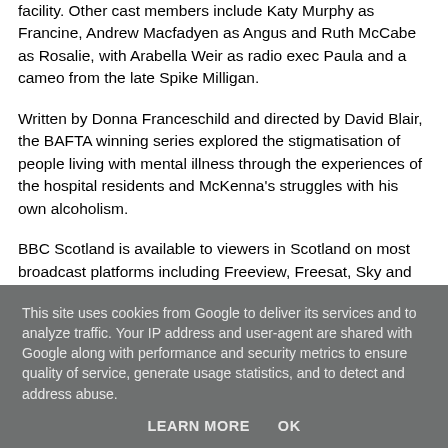facility. Other cast members include Katy Murphy as Francine, Andrew Macfadyen as Angus and Ruth McCabe as Rosalie, with Arabella Weir as radio exec Paula and a cameo from the late Spike Milligan.
Written by Donna Franceschild and directed by David Blair, the BAFTA winning series explored the stigmatisation of people living with mental illness through the experiences of the hospital residents and McKenna's struggles with his own alcoholism.
BBC Scotland is available to viewers in Scotland on most broadcast platforms including Freeview, Freesat, Sky and...
This site uses cookies from Google to deliver its services and to analyze traffic. Your IP address and user-agent are shared with Google along with performance and security metrics to ensure quality of service, generate usage statistics, and to detect and address abuse.
LEARN MORE    OK